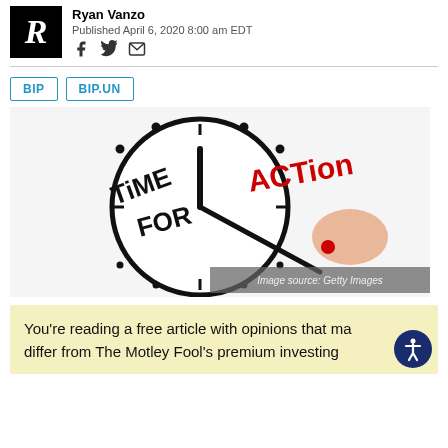Ryan Vanzo — Published April 6, 2020 8:00 am EDT
BIP   BIP.UN
[Figure (photo): Clock with 'TIME FOR ACTION' written on it, hand holding a red marker writing ACTION in red, rest in black text. Image source: Getty Images.]
You're reading a free article with opinions that may differ from The Motley Fool's premium investing